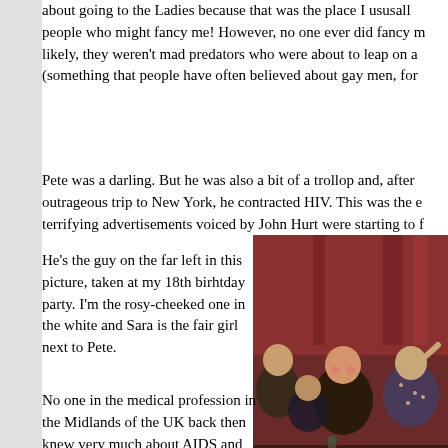about going to the Ladies because that was the place I usually people who might fancy me! However, no one ever did fancy m likely, they weren't mad predators who were about to leap on a (something that people have often believed about gay men, for
Pete was a darling. But he was also a bit of a trollop and, after outrageous trip to New York, he contracted HIV. This was the e terrifying advertisements voiced by John Hurt were starting to f
[Figure (photo): Vintage photograph of people at a birthday party, with a red curtain in the background. Shows several young women, one with rosy cheeks in the center.]
He's the guy on the far left in this picture, taken at my 18th birhtday party. I'm the rosy-cheeked one in the white and Sara is the fair girl next to Pete.
No one in the medical profession in the Midlands of the UK back then knew very much about AIDS and everyone was afraid that it was contagious like the flu. Once Pete was diagnosed, none of the allowed to come within two metres of him, let alone hold his ha